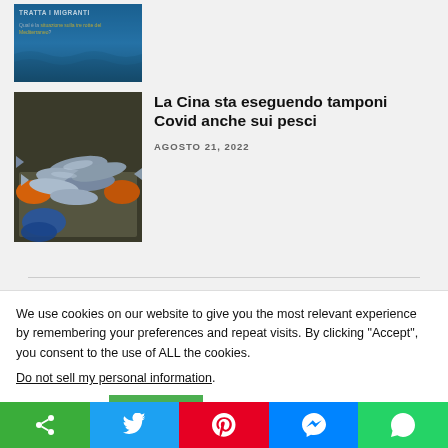[Figure (photo): Partially visible article thumbnail showing Mediterranean sea route with text 'TRATTA I MIGRANTI' and subtitle about Mediterranean route situation]
[Figure (photo): Photo of fish (sardines/mackerel) being held in orange-gloved hands on a tray]
La Cina sta eseguendo tamponi Covid anche sui pesci
AGOSTO 21, 2022
We use cookies on our website to give you the most relevant experience by remembering your preferences and repeat visits. By clicking “Accept”, you consent to the use of ALL the cookies.
Do not sell my personal information.
Cookie settings
ACCEPT